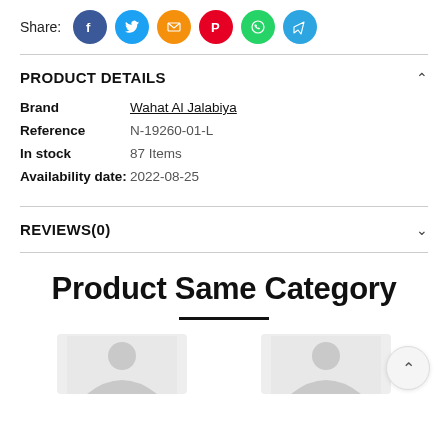Share: [social icons: Facebook, Twitter, Email, Pinterest, WhatsApp, Telegram]
PRODUCT DETAILS
Brand: Wahat Al Jalabiya
Reference: N-19260-01-L
In stock: 87 Items
Availability date: 2022-08-25
REVIEWS(0)
Product Same Category
[Figure (photo): Two product thumbnail images of women's clothing]